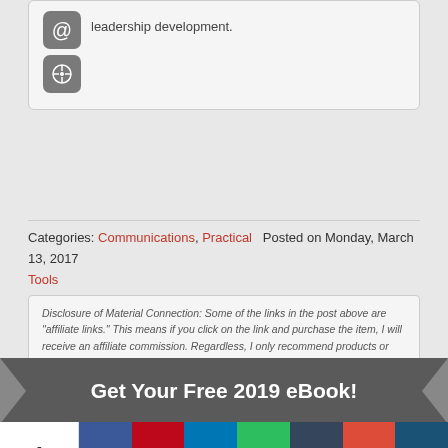[Figure (other): Icon box with @ symbol and compass/star symbol]
leadership development.
Categories: Communications, Practical Tools   Posted on Monday, March 13, 2017
Disclosure of Material Connection: Some of the links in the post above are “affiliate links.” This means if you click on the link and purchase the item, I will receive an affiliate commission. Regardless, I only recommend products or services I use personally and believe will add value to my readers. I am disclosing this in accordance with the Federal Trade Commission’s 16 CFR, Part 255: “Guides Concerning the Use of Endorsements and Testimonials in Advertising.”
Get Your Free 2019 eBook!
1 Shares
Like us on Facebook and help us help us spread the word!